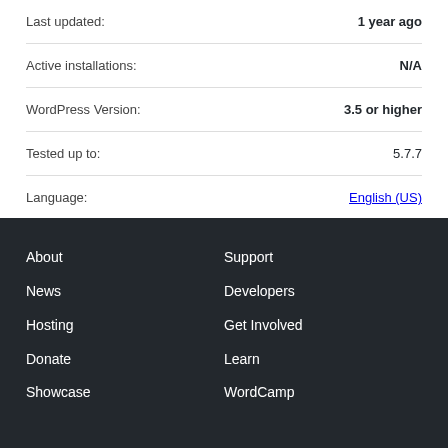Last updated: 1 year ago
Active installations: N/A
WordPress Version: 3.5 or higher
Tested up to: 5.7.7
Language: English (US)
Advanced View
About
Support
News
Developers
Hosting
Get Involved
Donate
Learn
Showcase
WordCamp